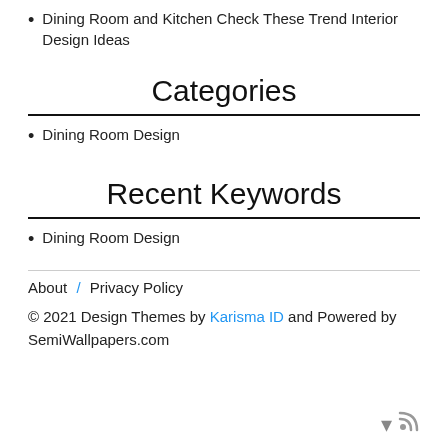Dining Room and Kitchen Check These Trend Interior Design Ideas
Categories
Dining Room Design
Recent Keywords
Dining Room Design
About / Privacy Policy
© 2021 Design Themes by Karisma ID and Powered by SemiWallpapers.com